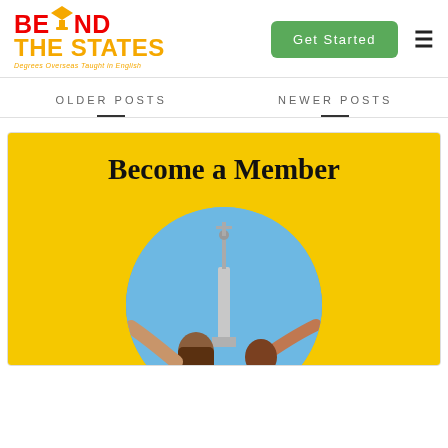[Figure (logo): Beyond The States logo — red and yellow text with graduation cap icon, tagline 'Degrees Overseas Taught in English']
Get Started
≡
OLDER POSTS
NEWER POSTS
[Figure (illustration): Yellow promotional card with 'Become a Member' text and a circular photo showing two people with arms raised in front of a monument against a blue sky]